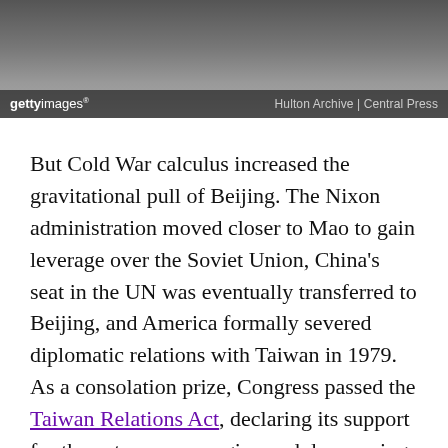[Figure (photo): Black and white archival photograph showing figures, partially visible. Getty Images watermark overlay with credit 'Hulton Archive | Central Press'.]
But Cold War calculus increased the gravitational pull of Beijing. The Nixon administration moved closer to Mao to gain leverage over the Soviet Union, China's seat in the UN was eventually transferred to Beijing, and America formally severed diplomatic relations with Taiwan in 1979. As a consolation prize, Congress passed the Taiwan Relations Act, declaring its support for the autonomous region and denouncing any mainland attempt to retake it by force. The act stopped short of declaring it would defend Taiwan militarily, instead choosing to adopt a